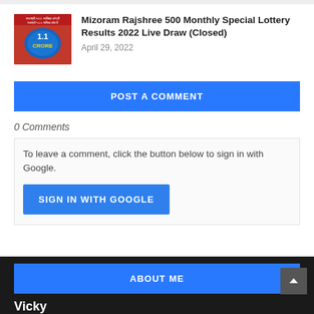[Figure (photo): Lottery ticket image showing 1.1 Crore prize, red and blue colored]
Mizoram Rajshree 500 Monthly Special Lottery Results 2022 Live Draw (Closed)
April 29, 2022
POST A COMMENT
0 Comments
To leave a comment, click the button below to sign in with Google.
SIGN IN WITH GOOGLE
ABOUT ME
Vicky